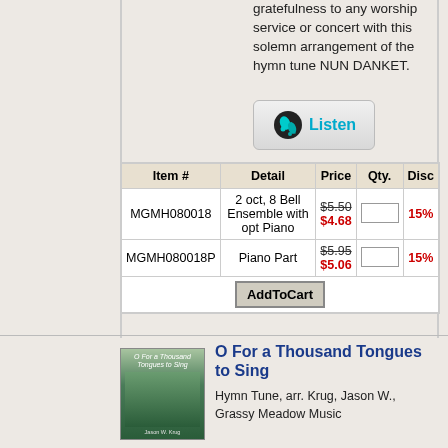gratefulness to any worship service or concert with this solemn arrangement of the hymn tune NUN DANKET.
[Figure (other): Listen button with musical note icon and teal 'Listen' text]
| Item # | Detail | Price | Qty. | Disc |
| --- | --- | --- | --- | --- |
| MGMH080018 | 2 oct, 8 Bell Ensemble with opt Piano | $5.50 / $4.68 |  | 15% |
| MGMH080018P | Piano Part | $5.95 / $5.06 |  | 15% |
|  | AddToCart |  |  |  |
[Figure (photo): Book cover of 'O For a Thousand Tongues to Sing' by Jason W. Krug, showing a green mountain landscape]
O For a Thousand Tongues to Sing
Hymn Tune, arr. Krug, Jason W., Grassy Meadow Music